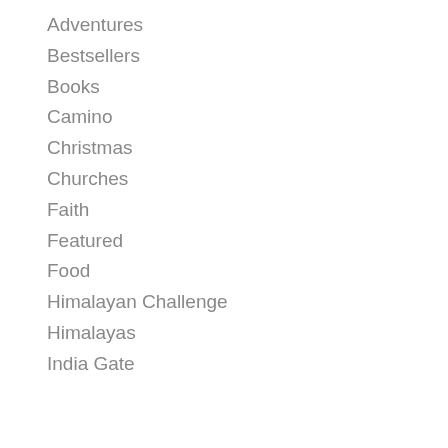Adventures
Bestsellers
Books
Camino
Christmas
Churches
Faith
Featured
Food
Himalayan Challenge
Himalayas
India Gate